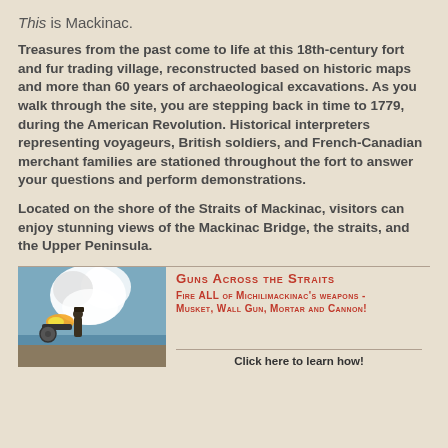This is Mackinac.
Treasures from the past come to life at this 18th-century fort and fur trading village, reconstructed based on historic maps and more than 60 years of archaeological excavations. As you walk through the site, you are stepping back in time to 1779, during the American Revolution. Historical interpreters representing voyageurs, British soldiers, and French-Canadian merchant families are stationed throughout the fort to answer your questions and perform demonstrations.
Located on the shore of the Straits of Mackinac, visitors can enjoy stunning views of the Mackinac Bridge, the straits, and the Upper Peninsula.
[Figure (photo): A historical interpreter firing a cannon at the shore, with a large cloud of white smoke from the cannon blast, blue sky and water in background.]
Guns Across the Straits - Fire ALL of Michilimackinac's weapons - Musket, Wall Gun, Mortar and Cannon!
Click here to learn how!